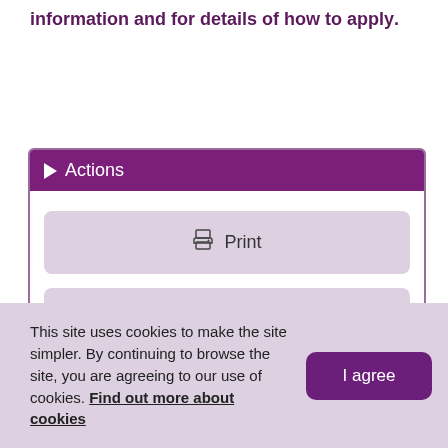information and for details of how to apply.
[Figure (screenshot): Actions panel with purple header containing a play/triangle icon and the text 'Actions', followed by two buttons: a 'Print' button with printer icon and an 'Add to My Shortlist' button with a plus icon, all within a bordered rounded box.]
This site uses cookies to make the site simpler. By continuing to browse the site, you are agreeing to our use of cookies. Find out more about cookies